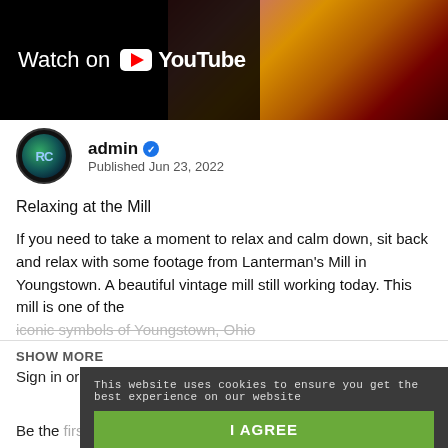[Figure (screenshot): YouTube video thumbnail showing fire/flames with 'Watch on YouTube' overlay banner on dark background]
admin ✓
Published Jun 23, 2022
Relaxing at the Mill
If you need to take a moment to relax and calm down, sit back and relax with some footage from Lanterman's Mill in Youngstown. A beautiful vintage mill still working today. This mill is one of the iconic symbols of Youngstown, Ohio
SHOW MORE
Sign in or sign up to post comments.
This website uses cookies to ensure you get the best experience on our website
I AGREE
Be the first to comment